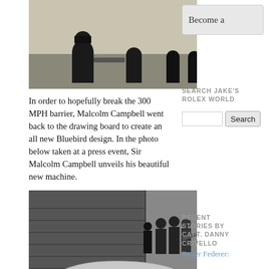[Figure (photo): Black and white photograph showing silhouettes of several people viewed from behind in an outdoor field setting]
In order to hopefully break the 300 MPH barrier, Malcolm Campbell went back to the drawing board to create an all new Bluebird design. In the photo below taken at a press event, Sir Malcolm Campbell unveils his beautiful new machine.
[Figure (other): Sidebar widget showing 'Become a' text in a rounded rectangle box]
SEARCH JAKE'S ROLEX WORLD
[Figure (photo): Black and white photograph of an indoor hangar scene showing people gathered around what appears to be a streamlined racing car body, with camera equipment visible in the foreground]
RECENT STORIES BY CAPT. DANNY CRIVELLO
Roger Federer: